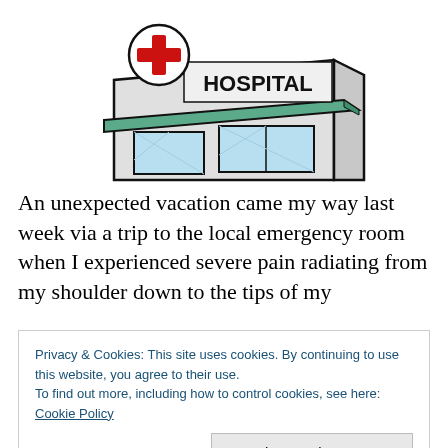[Figure (illustration): Cartoon illustration of a hospital building with a red cross sign, green awning, and blue windows]
An unexpected vacation came my way last week via a trip to the local emergency room when I experienced severe pain radiating from my shoulder down to the tips of my
Privacy & Cookies: This site uses cookies. By continuing to use this website, you agree to their use.
To find out more, including how to control cookies, see here: Cookie Policy